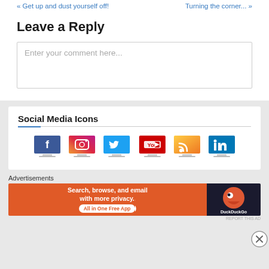« Get up and dust yourself off!    Turning the corner... »
Leave a Reply
Enter your comment here...
Social Media Icons
[Figure (infographic): Row of 6 social media icons displayed on monitor frames: Facebook, Instagram, Twitter, YouTube, RSS, LinkedIn]
Advertisements
[Figure (infographic): DuckDuckGo advertisement banner: orange left side with 'Search, browse, and email with more privacy. All in One Free App', dark right side with DuckDuckGo duck logo]